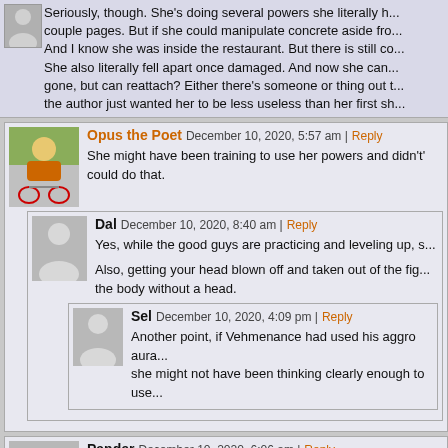Seriously, though. She's using several powers she literally h... couple pages. But if she could manipulate concrete aside fro... And I know she was inside the restaurant. But there is still co... She also literally fell apart once damaged. And now she can... gone, but can reattach? Either there's someone or thing out t... the author just wanted her to be less useless than her first sh...
Opus the Poet — December 10, 2020, 5:57 am | Reply — She might have been training to use her powers and didn't... could do that.
Dal — December 10, 2020, 8:40 am | Reply — Yes, while the good guys are practicing and leveling up, s... Also, getting your head blown off and taken out of the fig... the body without a head.
Sel — December 10, 2020, 4:09 pm | Reply — Another point, if Vehmenance had used his aggro aura... she might not have been thinking clearly enough to use...
Pander — December 10, 2020, 6:06 am | Reply — Her powers might ONLY work on concrete and asphalt. Th... wood, which I'm assuming were what was in the restauran... Plus even if she an manipulate sheetrock and plaster, shee...
Pander — December 10, 2020, 6:08 am | Reply